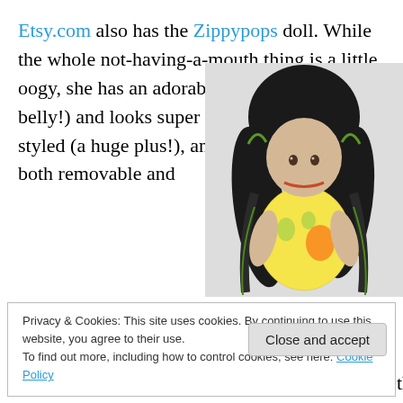Etsy.com also has the Zippypops doll. While the whole not-having-a-mouth thing is a little oogy, she has an adorable body (toddler belly!) and looks super soft. Her hair can be styled (a huge plus!), and her little dress is both removable and
[Figure (photo): A handmade cloth doll with dark black hair in two ponytails with green ribbon ties, a light-colored face with small brown eyes but no mouth, wearing a yellow and white floral dress with an orange flower, lying on a white surface.]
Privacy & Cookies: This site uses cookies. By continuing to use this website, you agree to their use.
To find out more, including how to control cookies, see here: Cookie Policy
Close and accept
much as I love my favorite pair of Seven jeans, then I'd